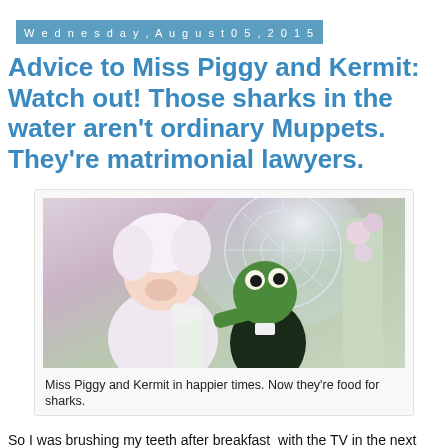Wednesday, August 05, 2015
Advice to Miss Piggy and Kermit: Watch out! Those sharks in the water aren't ordinary Muppets. They're matrimonial lawyers.
[Figure (photo): Miss Piggy in a white wedding dress and Kermit the Frog in a tuxedo, appearing to be at a wedding ceremony with floral decorations in the background.]
Miss Piggy and Kermit in happier times. Now they're food for sharks.
So I was brushing my teeth after breakfast  with the TV in the next room tuned to the CBS This Morning show. Suddenly I heard somebody — was it Norah O'Donnell or Gayle King? — announce that Miss Piggy and Kermit The Frog were calling it splitsville after 39